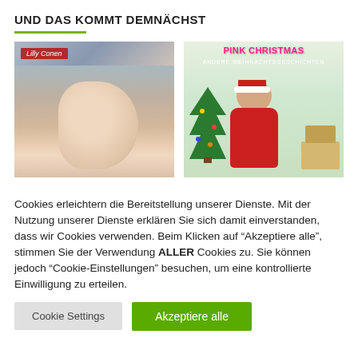UND DAS KOMMT DEMNÄCHST
[Figure (photo): Left book cover by Lilly Conen showing two people holding hands in jeans; Right book cover titled PINK CHRISTMAS - ANDERE WEIHNACHTSGESCHICHTEN showing a shirtless man in Santa outfit with Christmas tree and gifts]
Cookies erleichtern die Bereitstellung unserer Dienste. Mit der Nutzung unserer Dienste erklären Sie sich damit einverstanden, dass wir Cookies verwenden. Beim Klicken auf "Akzeptiere alle", stimmen Sie der Verwendung ALLER Cookies zu. Sie können jedoch "Cookie-Einstellungen" besuchen, um eine kontrollierte Einwilligung zu erteilen.
Cookie Settings | Akzeptiere alle